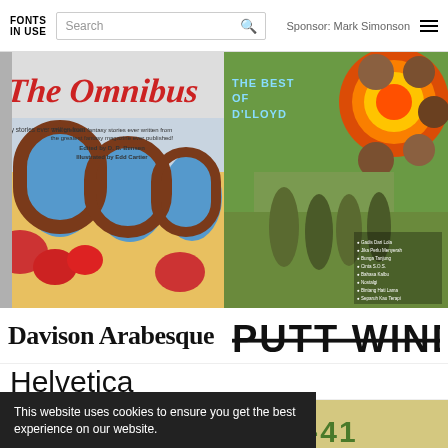FONTS IN USE | Search | Sponsor: Mark Simonson
[Figure (photo): Book cover: fantasy anthology with illustrated arches and colorful sci-fi/fantasy art. Text: 'The greatest fantasy stories ever written from the greatest fantasy magazine ever published! Edited by D. R. Bensen Illustrated by Edd Cartier']
[Figure (photo): Album cover: The Best of D'Lloyd, colorful psychedelic design with band member portraits in circles and group photo]
Davison Arabesque
PUTT WIND
Helvetica
This website uses cookies to ensure you get the best experience on our website.
Learn more
Got it!
[Figure (photo): Bottom left: black and white photo strip]
[Figure (photo): Bottom right: yellow-green album or book cover with green stylized text]